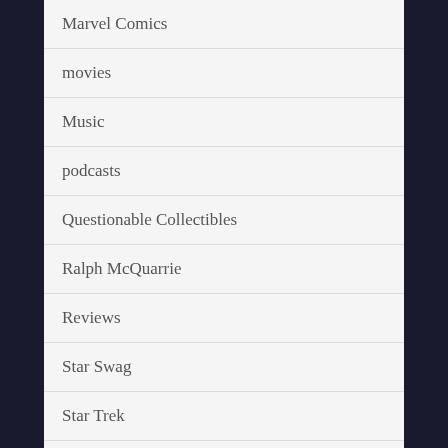Marvel Comics
movies
Music
podcasts
Questionable Collectibles
Ralph McQuarrie
Reviews
Star Swag
Star Trek
Star Wars